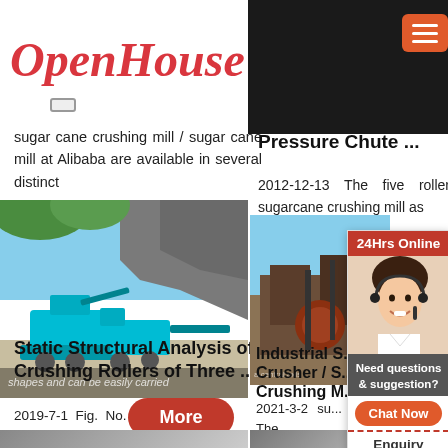OpenHouse
sugar cane crushing mill / sugar cane mill at Alibaba are available in several distinct
[Figure (photo): Blue/cyan crusher machine on rocky terrain with mountain background]
Static Structural Analysis of Crushing Rollers of Three ...
More
2019-7-1  Fig. No. 1– Three roller sugar mill [7] roller. The
Pressure Chute ...
2012-12-13  The five roller sugarcane crushing mill as
[Figure (photo): Industrial crushing machinery with workers]
Industrial S... Crusher / S... Crushing M...
2021-3-2  su... mill (a) The
[Figure (other): 24Hrs Online chat support widget with smiling woman wearing headset, 'Need questions & suggestion?', Chat Now button, Enquiry, mumumugoods]